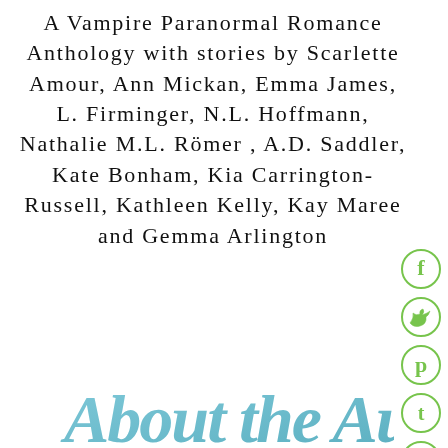A Vampire Paranormal Romance Anthology with stories by Scarlette Amour, Ann Mickan, Emma James, L. Firminger, N.L. Hoffmann, Nathalie M.L. Römer , A.D. Saddler, Kate Bonham, Kia Carrington-Russell, Kathleen Kelly, Kay Maree and Gemma Arlington
[Figure (illustration): Social sharing icons: Facebook (f), Twitter (bird), Pinterest (p), Tumblr (t), StumbleUpon (su) — all styled as green outlined circles with green icons inside]
[Figure (illustration): Decorative cursive script reading 'About the Au...' (partially visible at bottom), rendered in a light blue/teal watercolor or decorative font style]